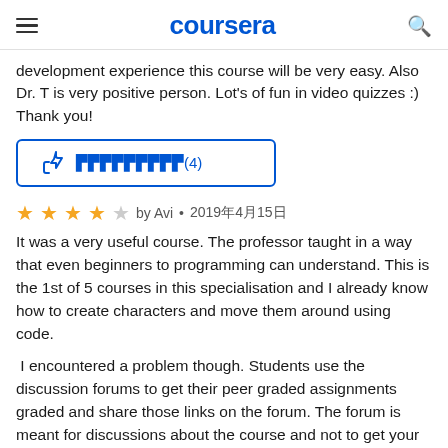coursera
development experience this course will be very easy. Also Dr. T is very positive person. Lot's of fun in video quizzes :) Thank you!
👍 ░░░░░░░░░(4)
★★★★☆ by Avi • 2019年4月15日
It was a very useful course. The professor taught in a way that even beginners to programming can understand. This is the 1st of 5 courses in this specialisation and I already know how to create characters and move them around using code.
I encountered a problem though. Students use the discussion forums to get their peer graded assignments graded and share those links on the forum. The forum is meant for discussions about the course and not to get your assignments graded or use it for personal purposes as such.